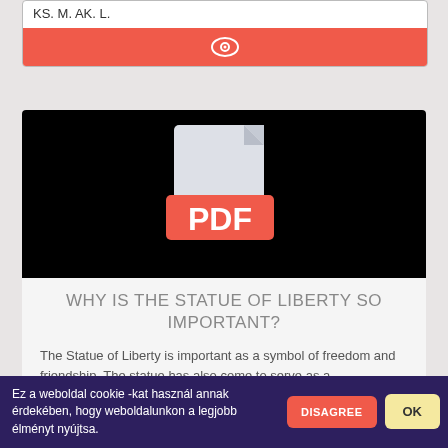KS. M. AK. L.
[Figure (screenshot): Red button with eye icon]
[Figure (illustration): Black background area with a PDF file icon (grey document with red PDF label)]
WHY IS THE STATUE OF LIBERTY SO IMPORTANT?
The Statue of Liberty is important as a symbol of freedom and friendship. The statue has also come to serve as a representation of the United States itself The Statue of Liberty is important as a symbol of freedom and friendship. The statue...
Ez a weboldal cookie -kat használ annak érdekében, hogy weboldalunkon a legjobb élményt nyújtsa.
DISAGREE
OK